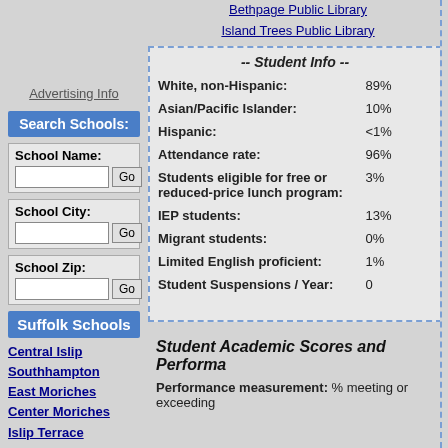Bethpage Public Library
Island Trees Public Library
-- Student Info --
| Category | Value |
| --- | --- |
| White, non-Hispanic: | 89% |
| Asian/Pacific Islander: | 10% |
| Hispanic: | <1% |
| Attendance rate: | 96% |
| Students eligible for free or reduced-price lunch program: | 3% |
| IEP students: | 13% |
| Migrant students: | 0% |
| Limited English proficient: | 1% |
| Student Suspensions / Year: | 0 |
Advertising Info
Search Schools:
School Name:
School City:
School Zip:
Suffolk Schools
Central Islip
Southhampton
East Moriches
Center Moriches
Islip Terrace
Patchogue
Calverton
Wainscott
East Hampton
Fishers Island
East Quogue
Student Academic Scores and Performa
Performance measurement: % meeting or exceeding